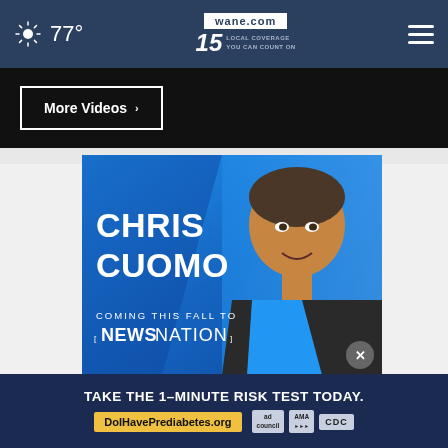77° wane.com 15 LOCAL COVERAGE YOU CAN COUNT ON
More Videos ›
[Figure (photo): Chris Cuomo promotional advertisement for NewsNation. Blue background with large white text reading CHRIS CUOMO and COMING THIS FALL TO [NEWSNATION]. Man in suit visible on right side.]
TAKE THE 1–MINUTE RISK TEST TODAY. DoIHavePrediabetes.org